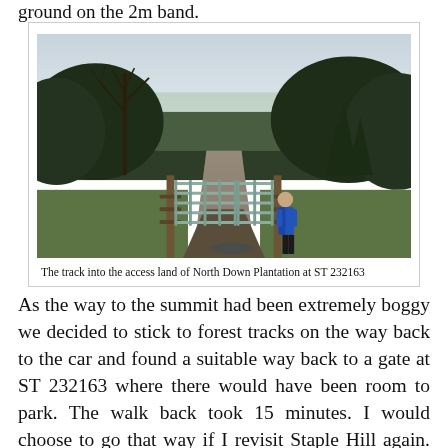ground on the 2m band.
[Figure (photo): A person in a blue jacket opening or standing at a metal farm gate at the entrance to a forest track. Bare deciduous trees and conifer woodland flank a muddy path leading into the distance. Overcast winter sky above.]
The track into the access land of North Down Plantation at ST 232163
As the way to the summit had been extremely boggy we decided to stick to forest tracks on the way back to the car and found a suitable way back to a gate at ST 232163 where there would have been room to park. The walk back took 15 minutes. I would choose to go that way if I revisit Staple Hill again. We had spent 70 minutes on the summit and it was now ten